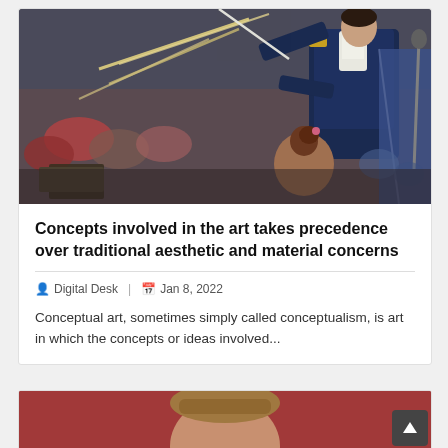[Figure (photo): Orchestra conductor in uniform holding a baton raised, with musicians playing instruments visible in foreground and audience in background]
Concepts involved in the art takes precedence over traditional aesthetic and material concerns
Digital Desk  |  Jan 8, 2022
Conceptual art, sometimes simply called conceptualism, is art in which the concepts or ideas involved...
[Figure (photo): Partial view of a person's face/head against a red background, cropped at bottom of page]